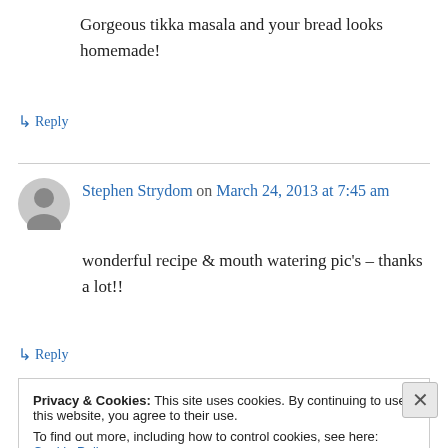Gorgeous tikka masala and your bread looks homemade!
↳ Reply
Stephen Strydom on March 24, 2013 at 7:45 am
wonderful recipe & mouth watering pic's – thanks a lot!!
↳ Reply
Privacy & Cookies: This site uses cookies. By continuing to use this website, you agree to their use. To find out more, including how to control cookies, see here: Cookie Policy
Close and accept